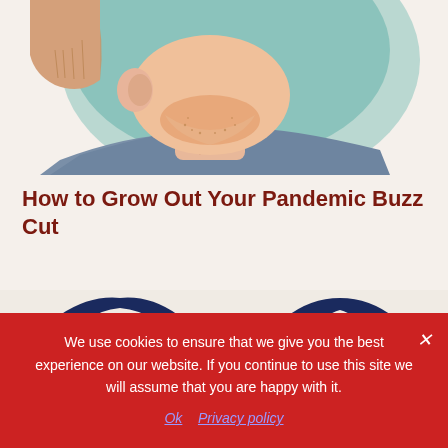[Figure (illustration): Comic-style illustration of a man's face and neck, partially cropped, on a light beige background. The man appears to be looking downward, with a blue-grey shirt visible at the bottom.]
How to Grow Out Your Pandemic Buzz Cut
[Figure (illustration): Comic-style illustration showing two male heads side by side with blue-black hair. Between them is a red arrow or chevron shape pointing right, suggesting a before/after transformation of hairstyle growth.]
We use cookies to ensure that we give you the best experience on our website. If you continue to use this site we will assume that you are happy with it.
Ok  Privacy policy